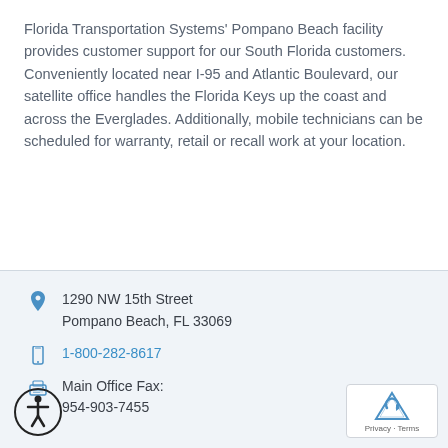Florida Transportation Systems' Pompano Beach facility provides customer support for our South Florida customers. Conveniently located near I-95 and Atlantic Boulevard, our satellite office handles the Florida Keys up the coast and across the Everglades. Additionally, mobile technicians can be scheduled for warranty, retail or recall work at your location.
1290 NW 15th Street
Pompano Beach, FL 33069
1-800-282-8617
Main Office Fax:
954-903-7455